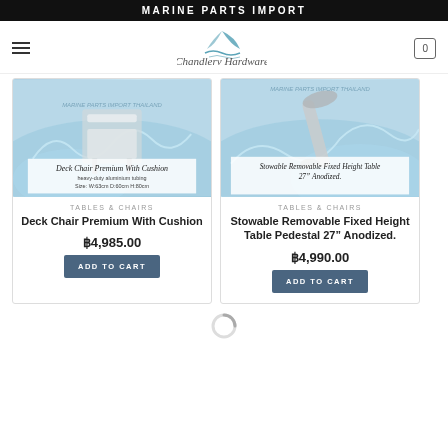MARINE PARTS IMPORT
[Figure (logo): Chandlery Hardware logo with a sailboat/moon graphic above italic text]
[Figure (photo): Product image of Deck Chair Premium With Cushion with water splash background and text overlay]
TABLES & CHAIRS
Deck Chair Premium With Cushion
฿4,985.00
ADD TO CART
[Figure (photo): Product image of Stowable Removable Fixed Height Table Pedestal 27" Anodized with water splash background]
TABLES & CHAIRS
Stowable Removable Fixed Height Table Pedestal 27" Anodized.
฿4,990.00
ADD TO CART